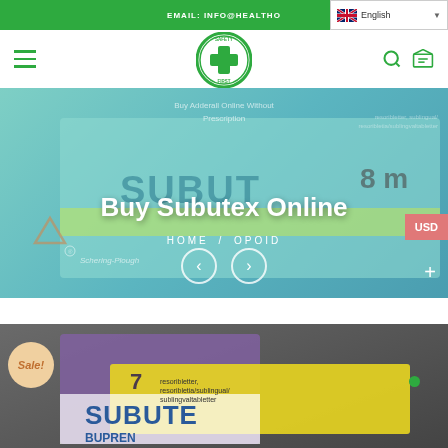EMAIL: INFO@HEALTHO...
[Figure (screenshot): English language selector dropdown with UK flag]
[Figure (logo): Safety First logo - green circle with white cross and text SAFETY FIRST]
[Figure (photo): Hero banner showing Subutex medication box with teal/green packaging, triangle warning symbol, Schering-Plough branding, 8mg marking]
Buy Subutex Online
HOME / OPOID
USD
[Figure (photo): Product photo showing Subutex/Subutex Buprenorphine packaging with purple and yellow colors, marked with Sale badge, 7 resoribletter sublingyal/sublingvaltabletter]